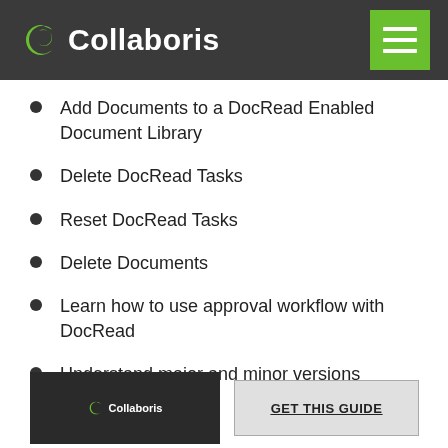Collaboris
Add Documents to a DocRead Enabled Document Library
Delete DocRead Tasks
Reset DocRead Tasks
Delete Documents
Learn how to use approval workflow with DocRead
Understand major and minor versions
[Figure (logo): Collaboris logo thumbnail in dark background]
GET THIS GUIDE